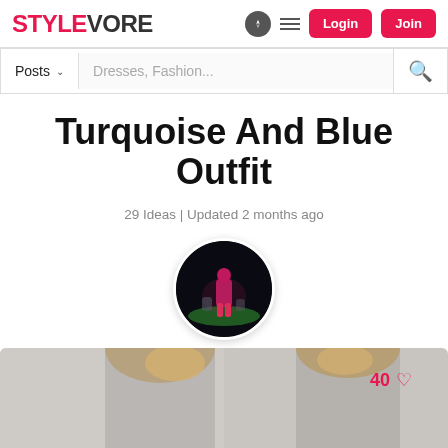STYLEVORE | Login | Join
Posts  Dresses, Fashion...
Turquoise And Blue Outfit
29 Ideas | Updated 2 months ago
[Figure (photo): Circular avatar image showing a person in a colorful outfit at night]
[Figure (photo): Photo strip at bottom showing a blonde woman from behind, with a heart like counter showing 40]